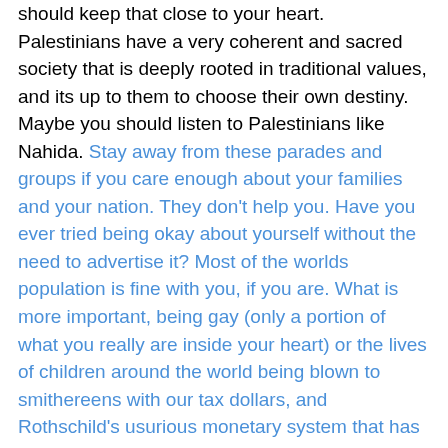should keep that close to your heart. Palestinians have a very coherent and sacred society that is deeply rooted in traditional values, and its up to them to choose their own destiny. Maybe you should listen to Palestinians like Nahida. Stay away from these parades and groups if you care enough about your families and your nation. They don't help you. Have you ever tried being okay about yourself without the need to advertise it? Most of the worlds population is fine with you, if you are. What is more important, being gay (only a portion of what you really are inside your heart) or the lives of children around the world being blown to smithereens with our tax dollars, and Rothschild's usurious monetary system that has